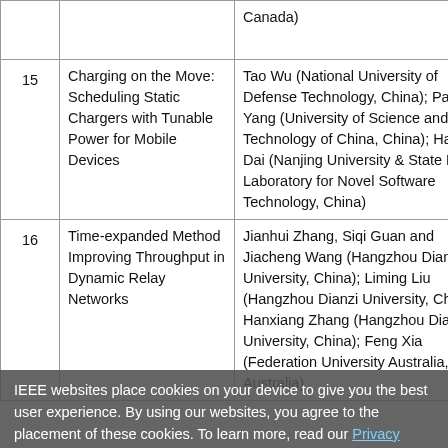| # | Title | Authors |
| --- | --- | --- |
|  |  | Canada) |
| 15 | Charging on the Move: Scheduling Static Chargers with Tunable Power for Mobile Devices | Tao Wu (National University of Defense Technology, China); Panlong Yang (University of Science and Technology of China, China); Haipeng Dai (Nanjing University & State Key Laboratory for Novel Software Technology, China) |
| 16 | Time-expanded Method Improving Throughput in Dynamic Relay Networks | Jianhui Zhang, Siqi Guan and Jiacheng Wang (Hangzhou Dianzi University, China); Liming Liu (Hangzhou Dianzi University, China); Hanxiang Zhang (Hangzhou Dianzi University, China); Feng Xia (Federation University Australia, Australia) |
IEEE websites place cookies on your device to give you the best user experience. By using our websites, you agree to the placement of these cookies. To learn more, read our Privacy Policy.